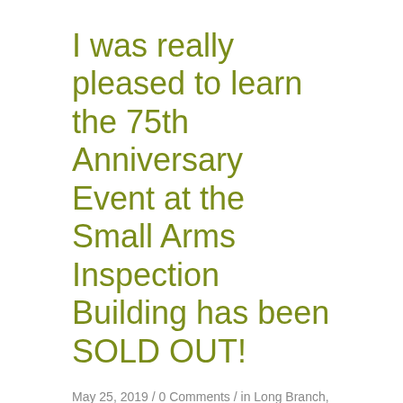I was really pleased to learn the 75th Anniversary Event at the Small Arms Inspection Building has been SOLD OUT!
May 25, 2019 / 0 Comments / in Long Branch, Mississauga, Newsletter / by Jaan Pill
When lifting with a hex bar, it's good to use large-